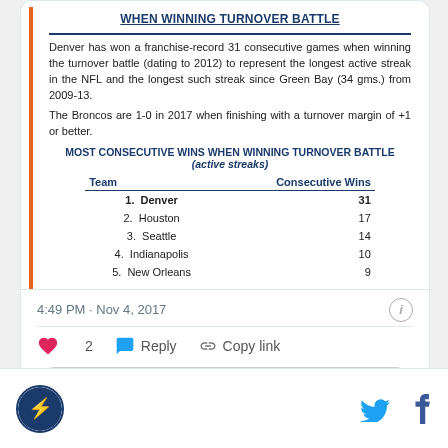WHEN WINNING TURNOVER BATTLE
Denver has won a franchise-record 31 consecutive games when winning the turnover battle (dating to 2012) to represent the longest active streak in the NFL and the longest such streak since Green Bay (34 gms.) from 2009-13.
The Broncos are 1-0 in 2017 when finishing with a turnover margin of +1 or better.
MOST CONSECUTIVE WINS WHEN WINNING TURNOVER BATTLE (active streaks)
| Team | Consecutive Wins |
| --- | --- |
| 1. Denver | 31 |
| 2. Houston | 17 |
| 3. Seattle | 14 |
| 4. Indianapolis | 10 |
| 5. New Orleans | 9 |
4:49 PM · Nov 4, 2017
2  Reply  Copy link
Read 1 reply